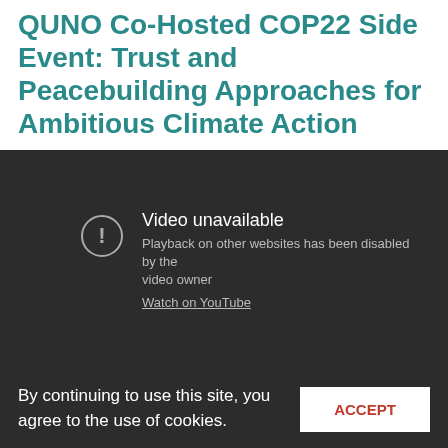QUNO Co-Hosted COP22 Side Event: Trust and Peacebuilding Approaches for Ambitious Climate Action
[Figure (screenshot): Embedded YouTube video player showing 'Video unavailable' message. Text reads: 'Video unavailable. Playback on other websites has been disabled by the video owner. Watch on YouTube']
By continuing to use this site, you agree to the use of cookies.